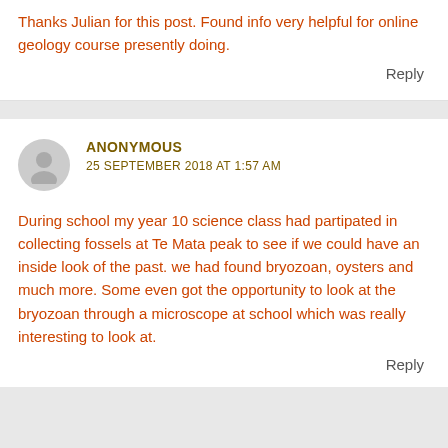Thanks Julian for this post. Found info very helpful for online geology course presently doing.
Reply
ANONYMOUS
25 SEPTEMBER 2018 AT 1:57 AM
During school my year 10 science class had partipated in collecting fossels at Te Mata peak to see if we could have an inside look of the past. we had found bryozoan, oysters and much more. Some even got the opportunity to look at the bryozoan through a microscope at school which was really interesting to look at.
Reply